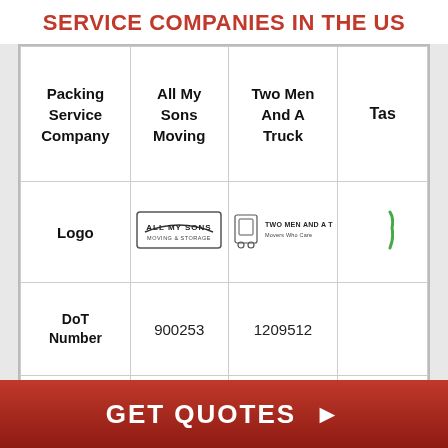SERVICE COMPANIES IN THE US
| Packing Service Company | All My Sons Moving | Two Men And A Truck | Tas... |
| --- | --- | --- | --- |
| Logo | [All My Sons logo] | [Two Men And A Truck logo] | [partial logo] |
| DoT Number | 900253 | 1209512 |  |
|  |  |  |  |
GET QUOTES ▶